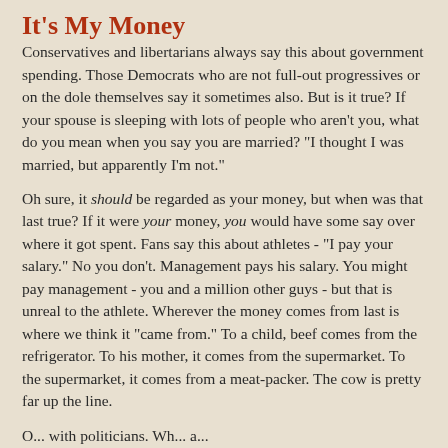It's My Money
Conservatives and libertarians always say this about government spending. Those Democrats who are not full-out progressives or on the dole themselves say it sometimes also. But is it true? If your spouse is sleeping with lots of people who aren't you, what do you mean when you say you are married? "I thought I was married, but apparently I'm not."
Oh sure, it should be regarded as your money, but when was that last true? If it were your money, you would have some say over where it got spent. Fans say this about athletes - "I pay your salary." No you don't. Management pays his salary. You might pay management - you and a million other guys - but that is unreal to the athlete. Wherever the money comes from last is where we think it "came from." To a child, beef comes from the refrigerator. To his mother, it comes from the supermarket. To the supermarket, it comes from a meat-packer. The cow is pretty far up the line.
O... with politicians. Wh... a...